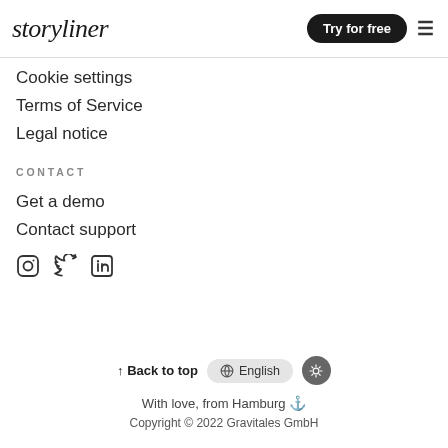storyliner | Try for free
Cookie settings
Terms of Service
Legal notice
CONTACT
Get a demo
Contact support
[Figure (other): Social media icons: Instagram, Twitter, LinkedIn]
↑ Back to top   🌐 English   ⬤
With love, from Hamburg ⚓
Copyright © 2022 Gravitales GmbH